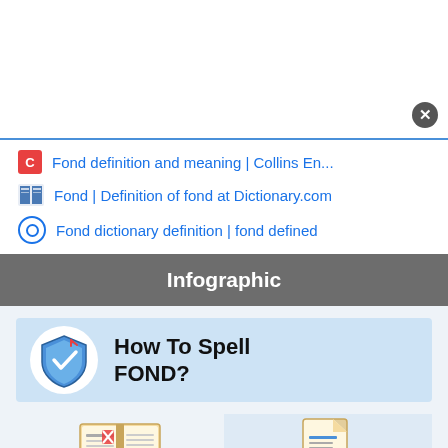Fond definition and meaning | Collins En...
Fond | Definition of fond at Dictionary.com
Fond dictionary definition | fond defined
Infographic
[Figure (infographic): Infographic titled 'How To Spell FOND?' with a shield icon on the left and two columns below: 'Definition for fond:' with an open book icon, and 'List of misspellings' with a document/magnifier icon.]